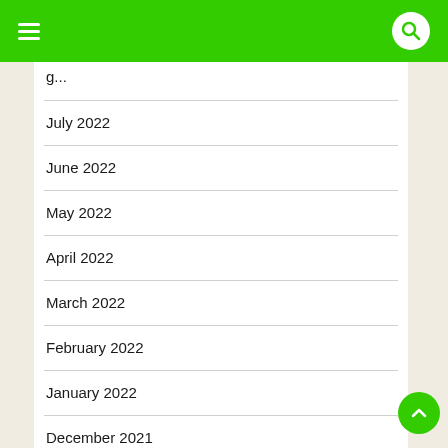navigation header with hamburger menu and search
July 2022
June 2022
May 2022
April 2022
March 2022
February 2022
January 2022
December 2021
November 2021